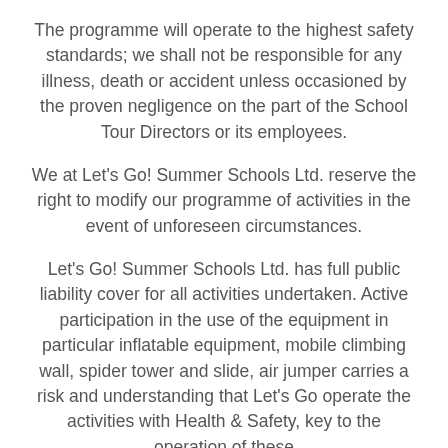The programme will operate to the highest safety standards; we shall not be responsible for any illness, death or accident unless occasioned by the proven negligence on the part of the School Tour Directors or its employees.
We at Let's Go! Summer Schools Ltd. reserve the right to modify our programme of activities in the event of unforeseen circumstances.
Let's Go! Summer Schools Ltd. has full public liability cover for all activities undertaken. Active participation in the use of the equipment in particular inflatable equipment, mobile climbing wall, spider tower and slide, air jumper carries a risk and understanding that Let's Go operate the activities with Health & Safety, key to the operation of these